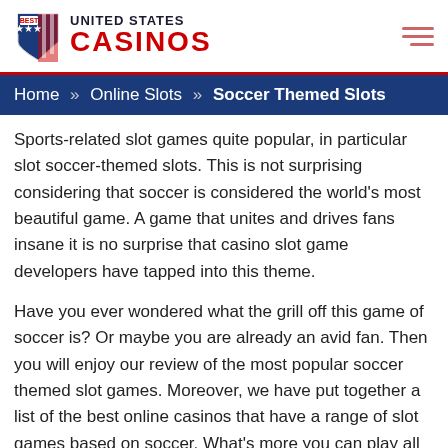[Figure (logo): Best United States Casinos logo with shield icon and hamburger menu icon]
Home » Online Slots » Soccer Themed Slots
Sports-related slot games quite popular, in particular slot soccer-themed slots. This is not surprising considering that soccer is considered the world's most beautiful game. A game that unites and drives fans insane it is no surprise that casino slot game developers have tapped into this theme.
Have you ever wondered what the grill off this game of soccer is? Or maybe you are already an avid fan. Then you will enjoy our review of the most popular soccer themed slot games. Moreover, we have put together a list of the best online casinos that have a range of slot games based on soccer. What's more you can play all these